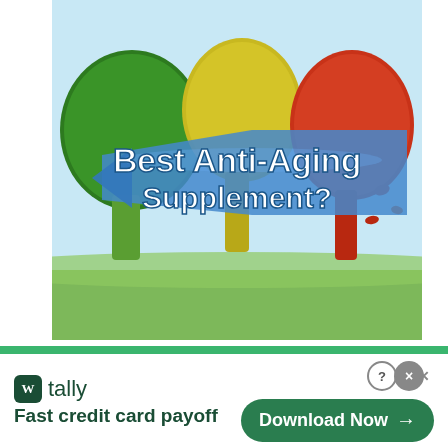[Figure (illustration): An illustration showing three tree-shaped human head silhouettes in summer green, autumn yellow, and autumn red/orange colors, with a large blue arrow banner overlaid reading 'Best Anti-Aging Supplement?' in bold white text.]
GenF20 Plus Review: Potentially Dangerous? A Scientific...
[Figure (screenshot): A Tally app advertisement banner at the bottom of the page. Shows the Tally logo (dark green square with 'W'), 'tally' text, tagline 'Fast credit card payoff', a close button, a help button, and a dark green 'Download Now →' button.]